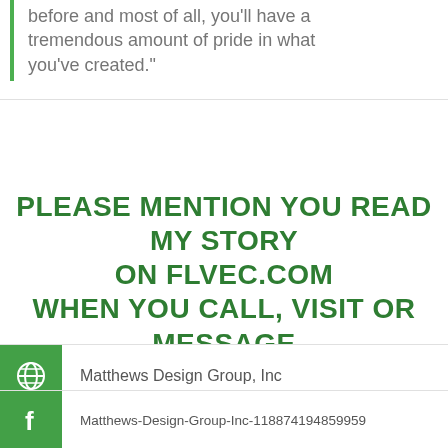before and most of all, you'll have a tremendous amount of pride in what you've created."
PLEASE MENTION YOU READ MY STORY ON FLVEC.COM WHEN YOU CALL, VISIT OR MESSAGE ME. THANKS!
Matthews Design Group, Inc
Matthews-Design-Group-Inc-118874194859959